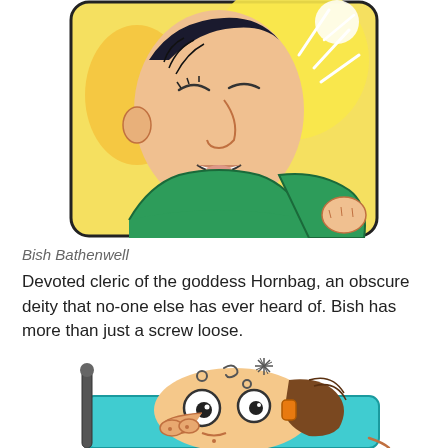[Figure (illustration): Comic-style illustration of a man with dark hair wearing a green outfit, eyes closed, mouth open, with a bright light shining from upper right. Rounded rectangle border with yellow background.]
Bish Bathenwell
Devoted cleric of the goddess Hornbag, an obscure deity that no-one else has ever heard of. Bish has more than just a screw loose.
[Figure (illustration): Comic-style illustration of a cartoon character lying on a teal/cyan surface, with big round eyes, a large nose, brown hair, and dizziness symbols (circles and a star burst) floating above the head. A dark staff or stick is visible on the left.]